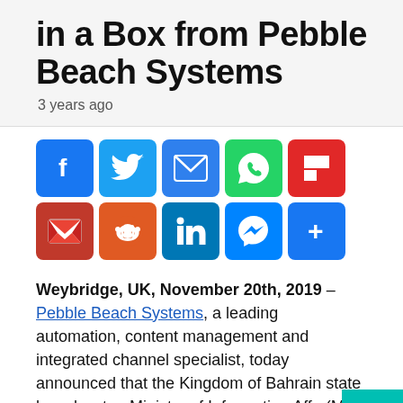in a Box from Pebble Beach Systems
3 years ago
[Figure (other): Row of social media share buttons: Facebook, Twitter, Email, WhatsApp, Flipboard, Gmail, Reddit, LinkedIn, Messenger, More(+)]
Weybridge, UK, November 20th, 2019 – Pebble Beach Systems, a leading automation, content management and integrated channel specialist, today announced that the Kingdom of Bahrain state broadcaster, Ministry of Information Affairs (MIA) has elected to deploy Pebble Beach Systems'